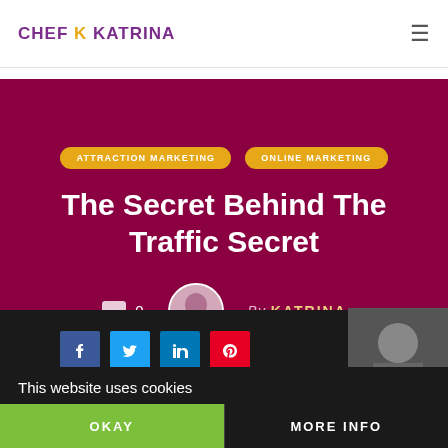CHEF K KATRINA
ATTRACTION MARKETING   ONLINE MARKETING
The Secret Behind The Traffic Secret
0   BY KATRINA
This website uses cookies
OKAY   MORE INFO